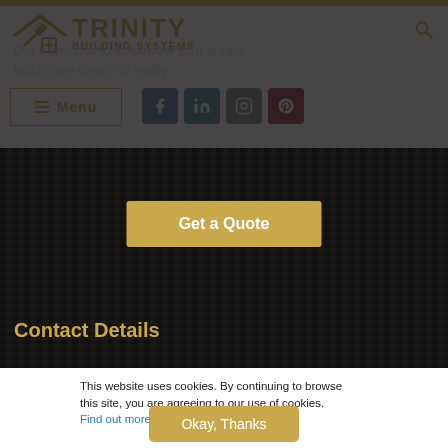[Figure (screenshot): Trinity Building Systems website header with logo, navigation menu, social media icons, and tagline text]
Our mission is to streamline your dream build, from dream to reality.
Menu
[Figure (other): Social media icons: Facebook, LinkedIn, Instagram, Pinterest]
Get a Quote
Contact Details
This website uses cookies. By continuing to browse this site, you are agreeing to our use of cookies. Find out more.
Okay, Thanks